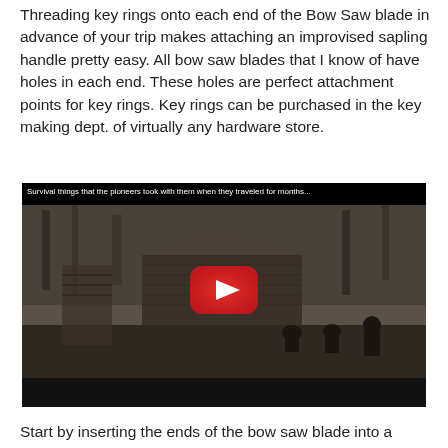Threading key rings onto each end of the Bow Saw blade in advance of your trip makes attaching an improvised sapling handle pretty easy. All bow saw blades that I know of have holes in each end. These holes are perfect attachment points for key rings. Key rings can be purchased in the key making dept. of virtually any hardware store.
[Figure (screenshot): YouTube video thumbnail showing a black and white historical photograph of pioneers/settlers outside a log cabin in a forest clearing. A YouTube play button (red rounded rectangle with white triangle) is overlaid in the center. The video title bar reads: 'Survival things that the pioneers took with them when they traveled for months...']
Start by inserting the ends of the bow saw blade into a...